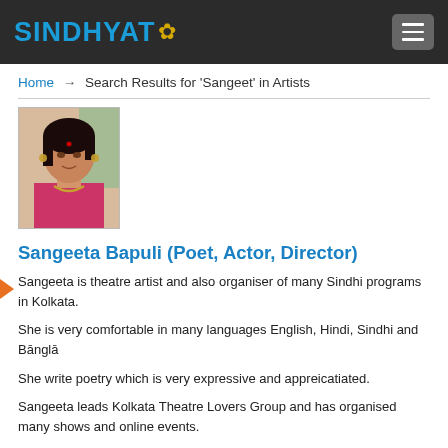SINDHYAT [logo with flower]
Home → Search Results for 'Sangeet' in Artists
[Figure (photo): Portrait photo of Sangeeta Bapuli, a woman with dark hair, bindi, wearing pink/magenta clothing and jewelry]
Sangeeta Bapuli (Poet, Actor, Director)
Sangeeta is theatre artist and also organiser of many Sindhi programs in Kolkata.
She is very comfortable in many languages English, Hindi, Sindhi and Bānglā
She write poetry which is very expressive and appreicatiated.
Sangeeta leads Kolkata Theatre Lovers Group and has organised many shows and online events.
City: Kolkata